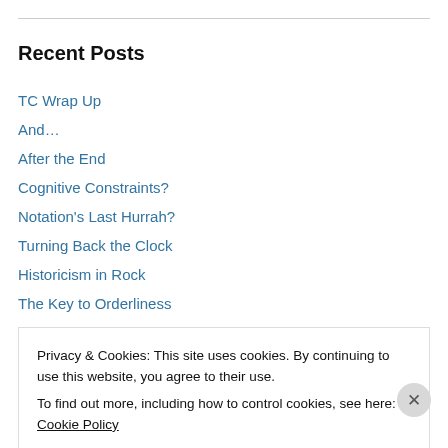Recent Posts
TC Wrap Up
And…
After the End
Cognitive Constraints?
Notation's Last Hurrah?
Turning Back the Clock
Historicism in Rock
The Key to Orderliness
The Taruskin Challenge's 200th Post
orderliness: a precompositional blog post (à la Structures Ia)
Privacy & Cookies: This site uses cookies. By continuing to use this website, you agree to their use. To find out more, including how to control cookies, see here: Cookie Policy
Close and accept